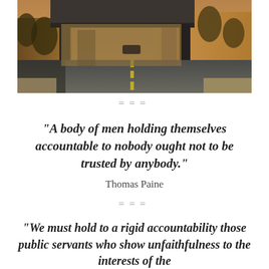[Figure (photo): Street-level photograph of an urban road passing under a bridge or overpass, with buildings and trees visible, warm golden-hour lighting tone.]
===
“A body of men holding themselves accountable to nobody ought not to be trusted by anybody.”
Thomas Paine
===
“We must hold to a rigid accountability those public servants who show unfaithfulness to the interests of the